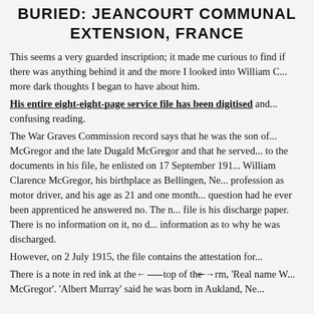BURIED: JEANCOURT COMMUNAL EXTENSION, FRANCE
This seems a very guarded inscription; it made me curious to find if there was anything behind it and the more I looked into William C... more dark thoughts I began to have about him. His entire eight-eight-page service file has been digitised and... confusing reading. The War Graves Commission record says that he was the son of... McGregor and the late Dugald McGregor and that he served... to the documents in his file, he enlisted on 17 September 191... William Clarence McGregor, his birthplace as Bellingen, Ne... profession as motor driver, and his age as 21 and one month... question had he ever been apprenticed he answered no. The ... file is his discharge paper. There is no information on it, no d... information as to why he was discharged. However, on 2 July 1915, the file contains the attestation for... There is a note in red ink at the top of the form, 'Real name W... McGregor'. 'Albert Murray' said he was born in Aukland, Ne...